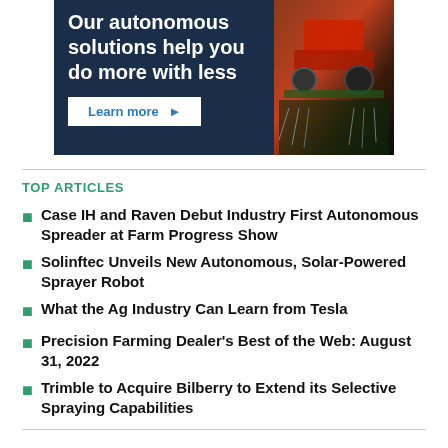[Figure (illustration): Advertisement banner with dark navy background showing text 'Our autonomous solutions help you do more with less' and a 'Learn more' button, alongside an image of farm machinery spraying crops]
TOP ARTICLES
Case IH and Raven Debut Industry First Autonomous Spreader at Farm Progress Show
Solinftec Unveils New Autonomous, Solar-Powered Sprayer Robot
What the Ag Industry Can Learn from Tesla
Precision Farming Dealer's Best of the Web: August 31, 2022
Trimble to Acquire Bilberry to Extend its Selective Spraying Capabilities